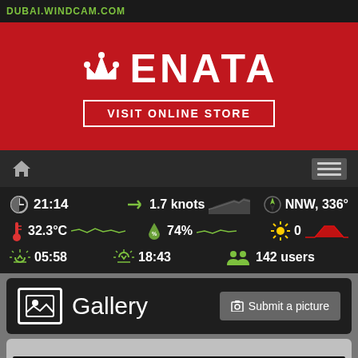DUBAI.WINDCAM.COM
[Figure (other): ENATA brand advertisement banner with red background, crown logo, brand name ENATA in large white text, and 'VISIT ONLINE STORE' button]
[Figure (infographic): Weather station readout showing: time 21:14, wind speed 1.7 knots with sparkline, wind direction NNW 336°, temperature 32.3°C with sparkline, humidity 74% with sparkline, UV index 0 with red sparkline, sunrise 05:58, sunset 18:43, 142 users online]
Gallery
Submit a picture